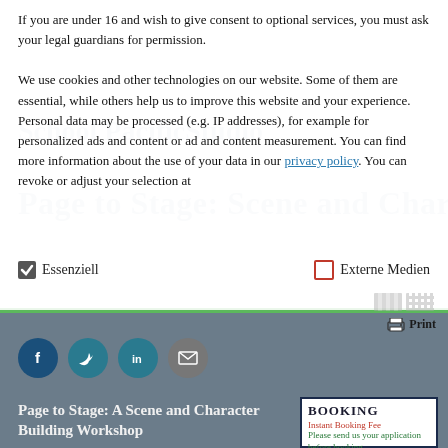If you are under 16 and wish to give consent to optional services, you must ask your legal guardians for permission.

We use cookies and other technologies on our website. Some of them are essential, while others help us to improve this website and your experience. Personal data may be processed (e.g. IP addresses), for example for personalized ads and content or ad and content measurement. You can find more information about the use of your data in our privacy policy. You can revoke or adjust your selection at
Essenziell
Externe Medien
[Figure (screenshot): Social media share icons: Facebook, Twitter, LinkedIn, Email]
Print
Page to Stage: A Scene and Character Building Workshop
with Geordie Brookman
Leading Australian director Geordie Brookman will take
| BOOKING |
| --- |
| Instant Booking Fee |
| Please send us your application before booking |
| Choose an option |